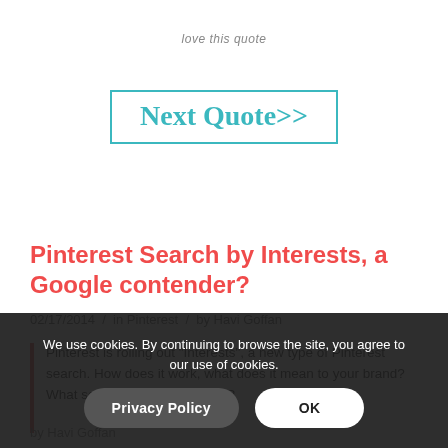love this quote
Next Quote>>
Pinterest Search by Interests, a Google contender?
02/17/2014 / in Pinterest / by Havi Goffan
Pinterest is rolling out "Interests", a new type of Pinterest search. How does it work, what does it mean to your brand? What search algorithm is used?
by Havi Goffan
We use cookies. By continuing to browse the site, you agree to our use of cookies.
Privacy Policy
OK